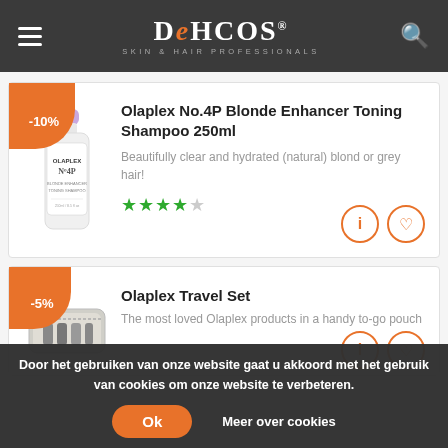DEHCOS - SKIN & HAIR PROFESSIONALS
[Figure (illustration): Olaplex No.4P Blonde Enhancer Toning Shampoo 250ml bottle, purple cap, white label]
Olaplex No.4P Blonde Enhancer Toning Shampoo 250ml
Beautifully clear and hydrated (natural) blond or grey hair!
★★★★☆ (4 out of 5 stars)
[Figure (photo): Olaplex Travel Set products in a pouch bag]
Olaplex Travel Set
The most loved Olaplex products in a handy to-go pouch
Door het gebruiken van onze website gaat u akkoord met het gebruik van cookies om onze website te verbeteren.
Ok
Meer over cookies